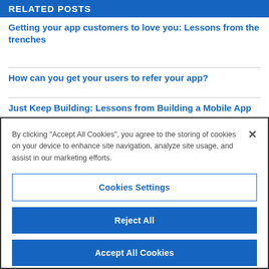RELATED POSTS
Getting your app customers to love you: Lessons from the trenches
How can you get your users to refer your app?
Just Keep Building: Lessons from Building a Mobile App
By clicking “Accept All Cookies”, you agree to the storing of cookies on your device to enhance site navigation, analyze site usage, and assist in our marketing efforts.
Cookies Settings
Reject All
Accept All Cookies